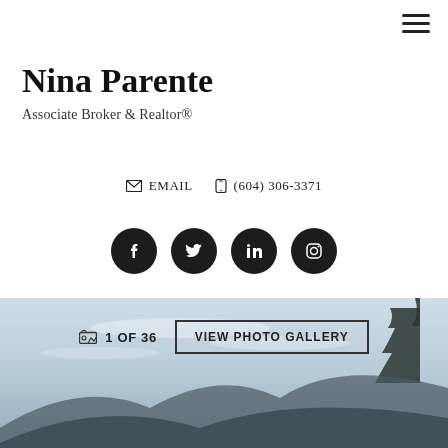Nina Parente
Associate Broker & Realtor®
✉ EMAIL   ✆ (604) 306-3371
[Figure (infographic): Social media icons: Facebook, Twitter, LinkedIn, Instagram — dark circular buttons]
[Figure (photo): Real estate listing photo gallery panel — outdoor sky and mountain landscape photo, showing 1 OF 36 with VIEW PHOTO GALLERY button]